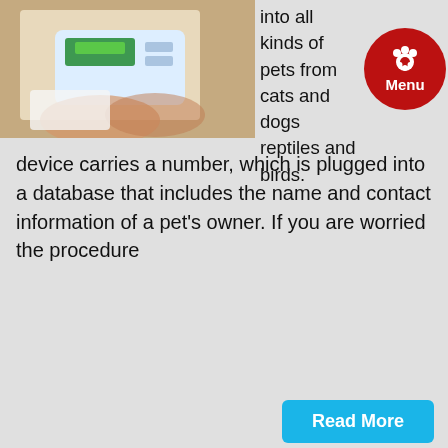[Figure (photo): Person holding a handheld medical/scanning device, photo cropped at top]
into all kinds of pets from cats and dogs reptiles and birds.
[Figure (other): Red circular menu button with paw print icon and 'Menu' text]
device carries a number, which is plugged into a database that includes the name and contact information of a pet's owner. If you are worried the procedure
Read More
Recognizing Signs of Illness in Your Pet
Posted Tags: Cats , Dogs , Pet Care
[Figure (photo): Ice pack on a cat or pet, blue ice bag resting on animal]
It takes a watchful eye to recognize what be early signs of di or health problems